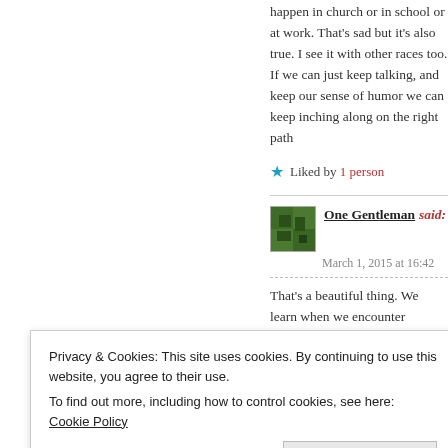happen in church or in school or at work. That's sad but it's also true. I see it with other races too. If we can just keep talking, and keep our sense of humor we can keep inching along on the right path
Liked by 1 person
One Gentleman said:
March 1, 2015 at 16:42
That's a beautiful thing. We learn when we encounter
Privacy & Cookies: This site uses cookies. By continuing to use this website, you agree to their use.
To find out more, including how to control cookies, see here: Cookie Policy
Close and accept